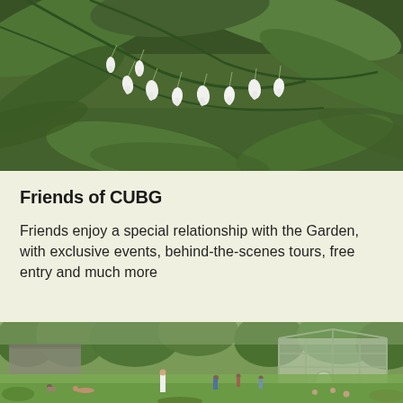[Figure (photo): Close-up photograph of white bleeding heart flowers (Lamprocapnos spectabilis) hanging from green stems with foliage, against a dark green background]
Friends of CUBG
Friends enjoy a special relationship with the Garden, with exclusive events, behind-the-scenes tours, free entry and much more
[Figure (photo): Outdoor garden scene showing people relaxing and walking on a lawn, with a large Victorian-style glasshouse/greenhouse structure visible in the background, surrounded by lush greenery and trees]